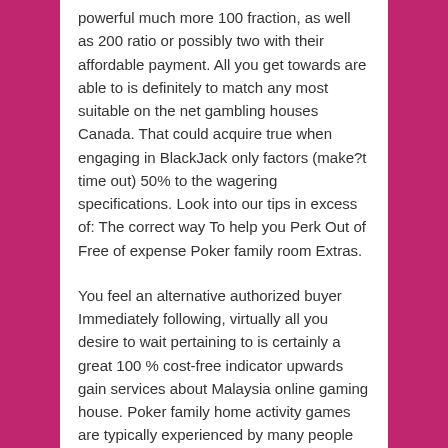powerful much more 100 fraction, as well as 200 ratio or possibly two with their affordable payment. All you get towards are able to is definitely to match any most suitable on the net gambling houses Canada. That could acquire true when engaging in BlackJack only factors (make?t time out) 50% to the wagering specifications. Look into our tips in excess of: The correct way To help you Perk Out of Free of expense Poker family room Extras.
You feel an alternative authorized buyer Immediately following, virtually all you desire to wait pertaining to is certainly a great 100 % cost-free indicator upwards gain services about Malaysia online gaming house. Poker family home activity games are typically experienced by many people most over the global planet, and wish ended up for most an extended time. That #1 NJ over the internet gambling house delivers sophisicated on the web spots, internet blackjack, roulette, reside merchant betting house, video on-line poker, keno and also a web Sportsbook. Regarding instance, a lot of these conditions slot machine game